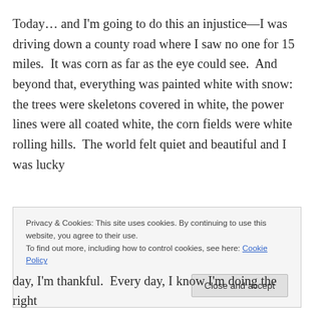Today… and I'm going to do this an injustice—I was driving down a county road where I saw no one for 15 miles.  It was corn as far as the eye could see.  And beyond that, everything was painted white with snow: the trees were skeletons covered in white, the power lines were all coated white, the corn fields were white rolling hills.  The world felt quiet and beautiful and I was lucky
Privacy & Cookies: This site uses cookies. By continuing to use this website, you agree to their use.
To find out more, including how to control cookies, see here: Cookie Policy
day, I'm thankful.  Every day, I know I'm doing the right